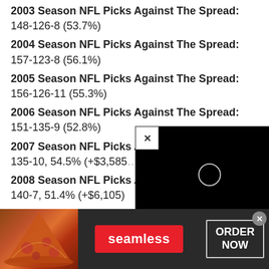2003 Season NFL Picks Against The Spread: 148-126-8 (53.7%)
2004 Season NFL Picks Against The Spread: 157-123-8 (56.1%)
2005 Season NFL Picks Against The Spread: 156-126-11 (55.3%)
2006 Season NFL Picks Against The Spread: 151-135-9 (52.8%)
2007 Season NFL Picks Against The Spread: 135-10, 54.5% (+$3,585...)
2008 Season NFL Picks Against The Spread: 140-7, 51.4% (+$6,105)
2009 Season NFL Picks Against The Spread: 151-124-9, 54.9% (+$4,225)
[Figure (screenshot): Black video player overlay with close button (X) in top-left corner and a circular loading/play indicator in the center of the dark screen.]
[Figure (infographic): Seamless food delivery advertisement banner showing pizza image on left, red Seamless logo button in center, and ORDER NOW button on right with close X button in top-right corner.]